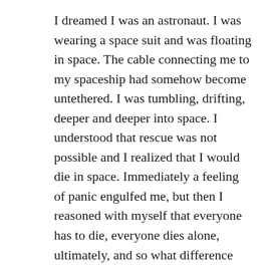I dreamed I was an astronaut. I was wearing a space suit and was floating in space. The cable connecting me to my spaceship had somehow become untethered. I was tumbling, drifting, deeper and deeper into space. I understood that rescue was not possible and I realized that I would die in space. Immediately a feeling of panic engulfed me, but then I reasoned with myself that everyone has to die, everyone dies alone, ultimately, and so what difference would it make where I died? But this thought didn't give me any comfort; instead, as I tumbled further and further into